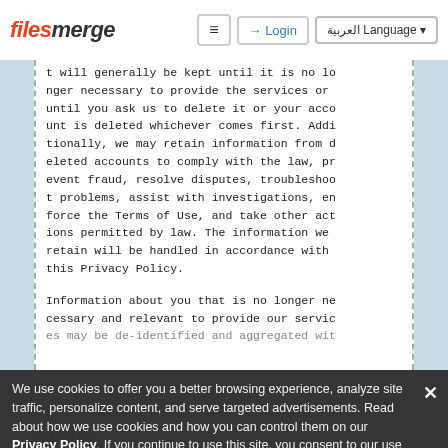filesmerge | Login | Language
t will generally be kept until it is no longer necessary to provide the services or until you ask us to delete it or your account is deleted whichever comes first. Additionally, we may retain information from deleted accounts to comply with the law, prevent fraud, resolve disputes, troubleshoot problems, assist with investigations, enforce the Terms of Use, and take other actions permitted by law. The information we retain will be handled in accordance with this Privacy Policy.

Information about you that is no longer necessary and relevant to provide our services may be de-identified and aggregated wit
We use cookies to offer you a better browsing experience, analyze site traffic, personalize content, and serve targeted advertisements. Read about how we use cookies and how you can control them on our Privacy Policy. If you continue to use this site, you consent to our use of cookies.
Children